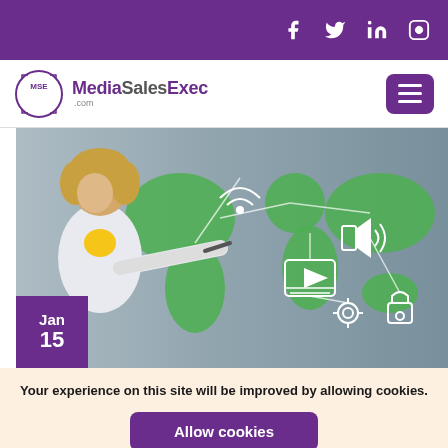Social media icons: Facebook, Twitter, LinkedIn, Instagram
[Figure (logo): MediaSalesExec.com logo with MSE circular badge and purple/grey text]
[Figure (photo): Woman in business attire pointing at a digital world map with connected technology icons. Date badge showing Jan 15 in purple overlay at bottom left.]
Your experience on this site will be improved by allowing cookies.
Allow cookies